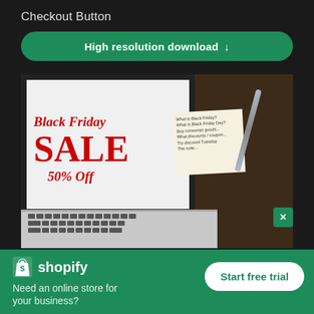Checkout Button
High resolution download ↓
[Figure (photo): Laptop on a dark wood desk displaying a Black Friday SALE 50% Off promotional page on screen, with a sticky note and a pen beside it]
×
[Figure (logo): Shopify logo — shopping bag icon with 's' and the word 'shopify' in white]
Need an online store for your business?
Start free trial